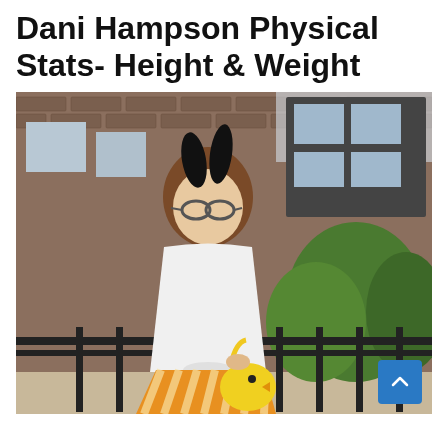Dani Hampson Physical Stats- Height & Weight
[Figure (photo): A woman wearing black bunny ears headband, round sunglasses, white t-shirt knotted at waist, orange and white striped skirt, holding a yellow chick-shaped bag, standing on a balcony or rooftop with brick buildings and green trees in the background.]